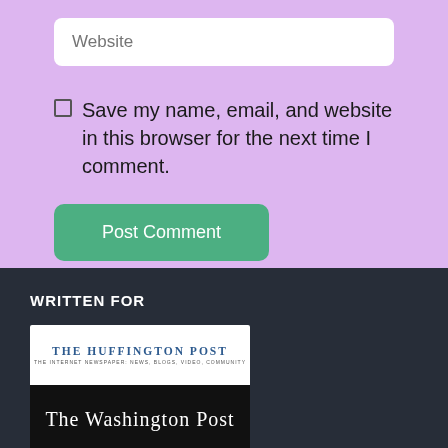Website
Save my name, email, and website in this browser for the next time I comment.
Post Comment
WRITTEN FOR
[Figure (logo): The Huffington Post logo on white background]
[Figure (logo): The Washington Post logo on black background]